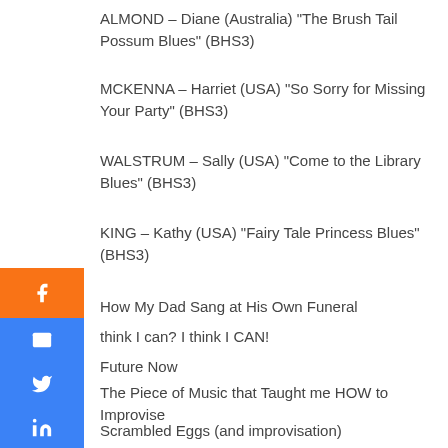ALMOND – Diane (Australia) “The Brush Tail Possum Blues” (BHS3)
MCKENNA – Harriet (USA) “So Sorry for Missing Your Party” (BHS3)
WALSTRUM – Sally (USA) “Come to the Library Blues” (BHS3)
KING – Kathy (USA) “Fairy Tale Princess Blues” (BHS3)
How My Dad Sang at His Own Funeral
think I can? I think I CAN!
Future Now
The Piece of Music that Taught me HOW to Improvise
Scrambled Eggs (and improvisation)